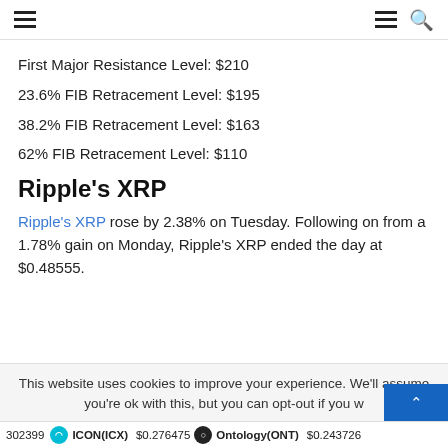Navigation header with hamburger menu and search icon
First Major Resistance Level: $210
23.6% FIB Retracement Level: $195
38.2% FIB Retracement Level: $163
62% FIB Retracement Level: $110
Ripple's XRP
Ripple's XRP rose by 2.38% on Tuesday. Following on from a 1.78% gain on Monday, Ripple's XRP ended the day at $0.48555.
This website uses cookies to improve your experience. We'll assume you're ok with this, but you can opt-out if you w... | ICON(ICX) $0.276475 | Ontology(ONT) $0.243726